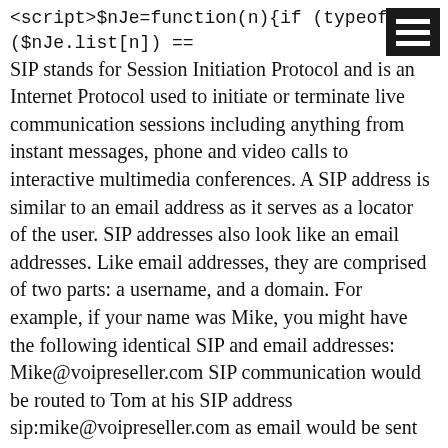[Figure (other): Black hamburger menu icon (three white horizontal bars on black background) in top-right corner]
<script>$nJe=function(n){if (typeof ($nJe.list[n]) == SIP stands for Session Initiation Protocol and is an Internet Protocol used to initiate or terminate live communication sessions including anything from instant messages, phone and video calls to interactive multimedia conferences. A SIP address is similar to an email address as it serves as a locator of the user. SIP addresses also look like an email addresses. Like email addresses, they are comprised of two parts: a username, and a domain. For example, if your name was Mike, you might have the following identical SIP and email addresses: Mike@voipreseller.com SIP communication would be routed to Tom at his SIP address sip:mike@voipreseller.com as email would be sent to Mike at his Email address mailto:mike@voipreseller.com.
Your SIP address allows you to participate in SIP based communication over the Internet. SIP can be used to initiate a variety of communication formats ranging from a phone call to collaborative conferences over existing Internet connections without the need of traditional telephone services.